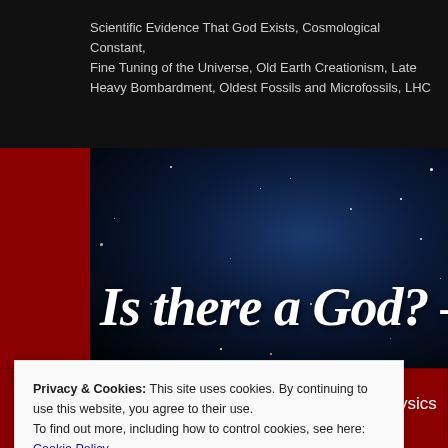Scientific Evidence That God Exists, Cosmological Constant, Fine Tuning of the Universe, Old Earth Creationism, Late Heavy Bombardment, Oldest Fossils and Microfossils, LHC
[Figure (photo): Dark starfield/night sky banner image with italic bold white script text reading 'Is there a God? - Sh...' partially cropped]
Home | About | Astrophysics
Privacy & Cookies: This site uses cookies. By continuing to use this website, you agree to their use.
To find out more, including how to control cookies, see here: Cookie Policy
Close and accept